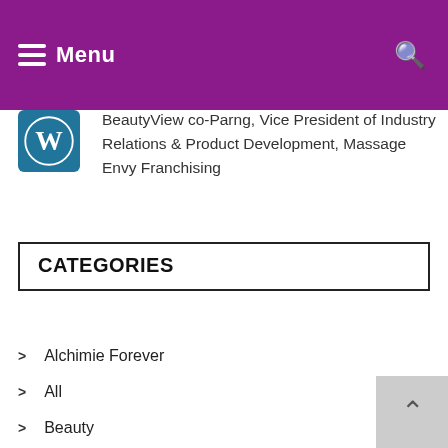Menu
BeautyView co-Parng, Vice President of Industry Relations & Product Development, Massage Envy Franchising
CATEGORIES
Alchimie Forever
All
Beauty
Beautyviews
Business
Industry news